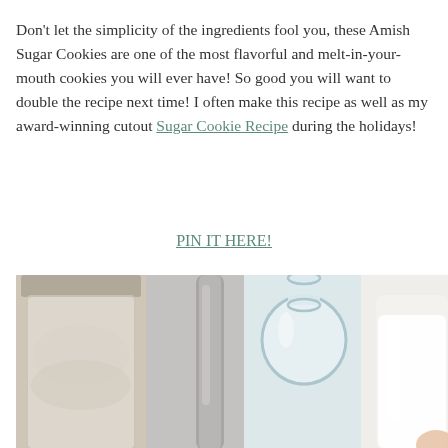Don't let the simplicity of the ingredients fool you, these Amish Sugar Cookies are one of the most flavorful and melt-in-your-mouth cookies you will ever have! So good you will want to double the recipe next time! I often make this recipe as well as my award-winning cutout Sugar Cookie Recipe during the holidays!
PIN IT HERE!
[Figure (photo): Close-up photo of baking ingredients including a mason jar with flour, a metal spoon, a small clear glass bottle, and a milk bottle on a light background]